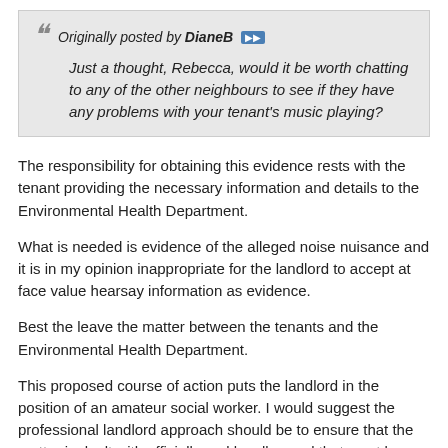Originally posted by DianeB » Just a thought, Rebecca, would it be worth chatting to any of the other neighbours to see if they have any problems with your tenant's music playing?
The responsibility for obtaining this evidence rests with the tenant providing the necessary information and details to the Environmental Health Department.
What is needed is evidence of the alleged noise nuisance and it is in my opinion inappropriate for the landlord to accept at face value hearsay information as evidence.
Best the leave the matter between the tenants and the Environmental Health Department.
This proposed course of action puts the landlord in the position of an amateur social worker. I would suggest the professional landlord approach should be to ensure that the matter is dealt with officially and legally - and that must be through the Environmental Health Department.
At the end of the day stirring up the other tenants could backfire if...